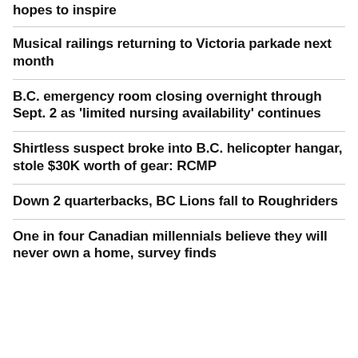hopes to inspire
Musical railings returning to Victoria parkade next month
B.C. emergency room closing overnight through Sept. 2 as 'limited nursing availability' continues
Shirtless suspect broke into B.C. helicopter hangar, stole $30K worth of gear: RCMP
Down 2 quarterbacks, BC Lions fall to Roughriders
One in four Canadian millennials believe they will never own a home, survey finds